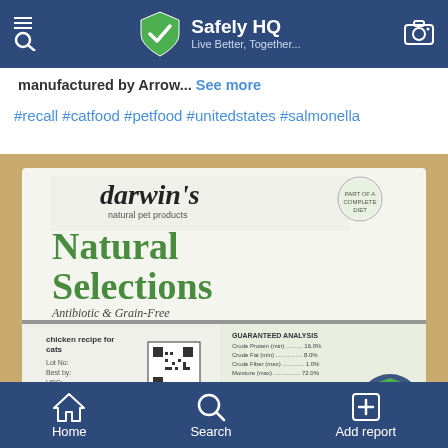Safely HQ — Live Better, Together...
manufactured by Arrow... See more
#recall #catfood #petfood #unitedstates #salmonella
[Figure (photo): Photo of Darwin's Natural Selections cat food package showing 'Chicken Recipe for Cats' label with QR code and product information text]
Home   Search   Add report